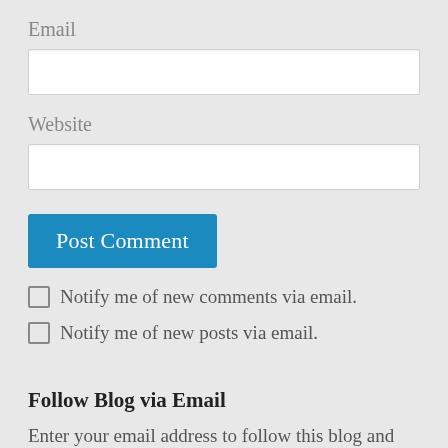Email
[Figure (other): Email input field (empty text box)]
Website
[Figure (other): Website input field (empty text box)]
[Figure (other): Post Comment button (blue)]
Notify me of new comments via email.
Notify me of new posts via email.
Follow Blog via Email
Enter your email address to follow this blog and